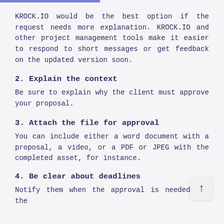KROCK.IO would be the best option if the request needs more explanation. KROCK.IO and other project management tools make it easier to respond to short messages or get feedback on the updated version soon.
2. Explain the context
Be sure to explain why the client must approve your proposal.
3. Attach the file for approval
You can include either a word document with a proposal, a video, or a PDF or JPEG with the completed asset, for instance.
4. Be clear about deadlines
Notify them when the approval is needed (or the